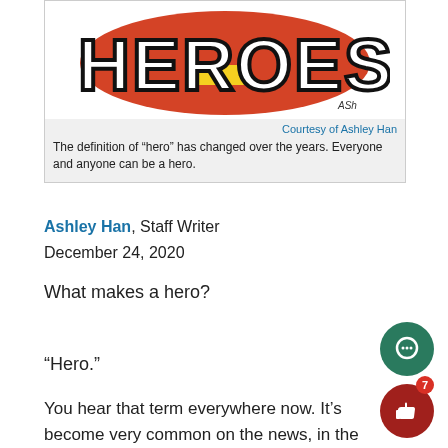[Figure (illustration): Colorful illustrated 'HEROES' text logo with bold outlined letters and red/yellow coloring, signed 'ASh' in bottom right]
Courtesy of Ashley Han
The definition of “hero” has changed over the years. Everyone and anyone can be a hero.
Ashley Han, Staff Writer
December 24, 2020
What makes a hero?
“Hero.”
You hear that term everywhere now. It’s become very common on the news, in the media, in movies, stories, et